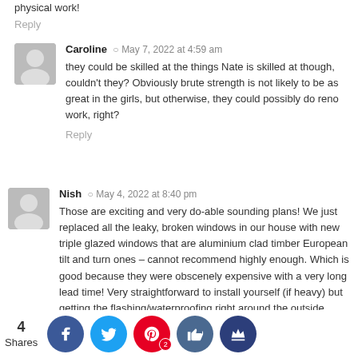physical work!
Reply
Caroline  May 7, 2022 at 4:59 am
they could be skilled at the things Nate is skilled at though, couldn't they? Obviously brute strength is not likely to be as great in the girls, but otherwise, they could possibly do reno work, right?
Reply
Nish  May 4, 2022 at 8:40 pm
Those are exciting and very do-able sounding plans! We just replaced all the leaky, broken windows in our house with new triple glazed windows that are aluminium clad timber European tilt and turn ones – cannot recommend highly enough. Which is good because they were obscenely expensive with a very long lead time! Very straightforward to install yourself (if heavy) but getting the flashing/waterproofing right around the outside involves a few steps and a bit of patience to plan out.
4 Shares